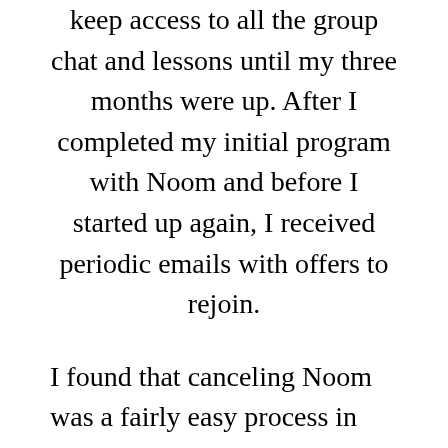keep access to all the group chat and lessons until my three months were up. After I completed my initial program with Noom and before I started up again, I received periodic emails with offers to rejoin.
I found that canceling Noom was a fairly easy process in early January About two weeks before my three-month subscription ended, I messaged my support coach saying that I did not want to be charged again. My message seemed to trigger some automatic actions